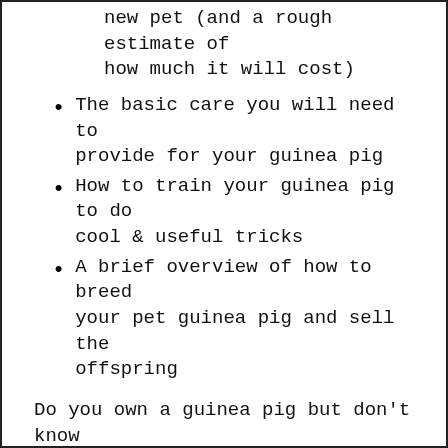new pet (and a rough estimate of how much it will cost)
The basic care you will need to provide for your guinea pig
How to train your guinea pig to do cool & useful tricks
A brief overview of how to breed your pet guinea pig and sell the offspring
Do you own a guinea pig but don't know the first thing about how to take proper care of it? Are you considering getting one but want to make sure it's really the best decision for you? Whatever your situation, this book will teach you everything you need to know to make